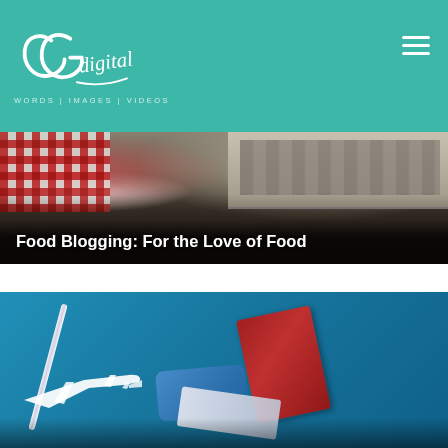CG Digital — WORDS | IMAGES | VIDEOS
[Figure (photo): Food blogging photo: laptop keyboard, red checkered cloth, food items on dark surface with overlay text]
Food Blogging: For the Love of Food
[Figure (photo): Travel blogging photo: teal background with toy airplane, red passport, blue face mask, boarding pass, and pen]